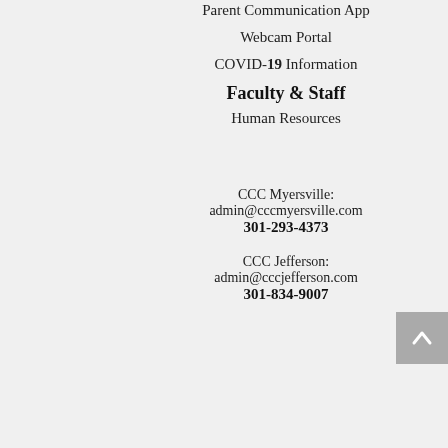Parent Communication App
Webcam Portal
COVID-19 Information
Faculty & Staff
Human Resources
CCC Myersville:
admin@cccmyersville.com
301-293-4373
CCC Jefferson:
admin@cccjefferson.com
301-834-9007